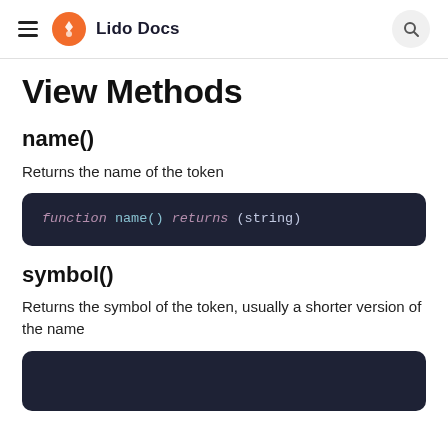Lido Docs
View Methods
name()
Returns the name of the token
function name() returns (string)
symbol()
Returns the symbol of the token, usually a shorter version of the name